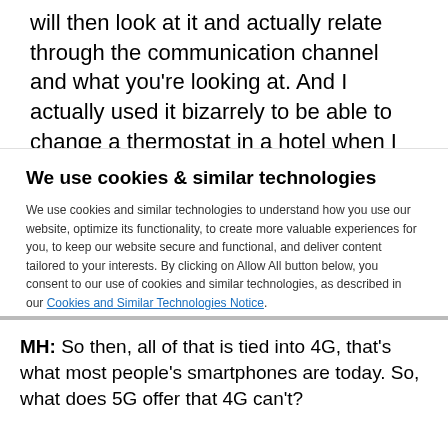will then look at it and actually relate through the communication channel and what you're looking at. And I actually used it bizarrely to be able to change a thermostat in a hotel when I was in China recently because I couldn't get any help from the people in the
We use cookies & similar technologies
We use cookies and similar technologies to understand how you use our website, optimize its functionality, to create more valuable experiences for you, to keep our website secure and functional, and deliver content tailored to your interests. By clicking on Allow All button below, you consent to our use of cookies and similar technologies, as described in our Cookies and Similar Technologies Notice.
[Figure (other): Two buttons side by side: an outlined white button and a solid blue button]
MH: So then, all of that is tied into 4G, that's what most people's smartphones are today. So, what does 5G offer that 4G can't?